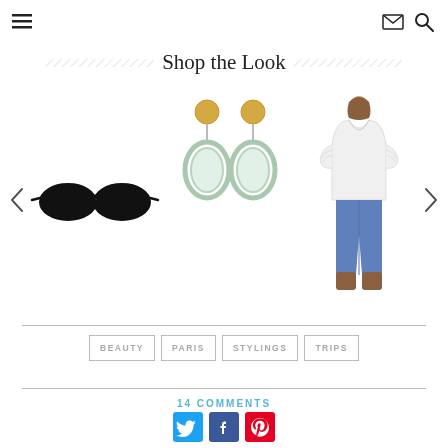Navigation menu, email icon, search icon
Shop the Look
[Figure (photo): Carousel showing three fashion products: black cat-eye sunglasses, mint green oval drop earrings, and a woman wearing a white ruffled blouse with blue skinny jeans and brown boots.]
BEAUTY
PARIS
STYLINGS
TRIPS
14 COMMENTS
[Figure (other): Social sharing icons: Twitter (blue), Facebook (blue), Pinterest (red)]